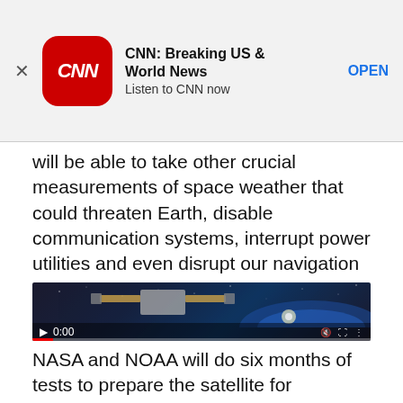[Figure (screenshot): CNN Breaking US & World News app advertisement banner with CNN logo, app name, tagline 'Listen to CNN now', and OPEN button]
will be able to take other crucial measurements of space weather that could threaten Earth, disable communication systems, interrupt power utilities and even disrupt our navigation systems.
[Figure (screenshot): Video player showing a satellite in space with Earth in background, timestamp 0:00, video controls at bottom]
NASA and NOAA will do six months of tests to prepare the satellite for everyday operation. Once it is